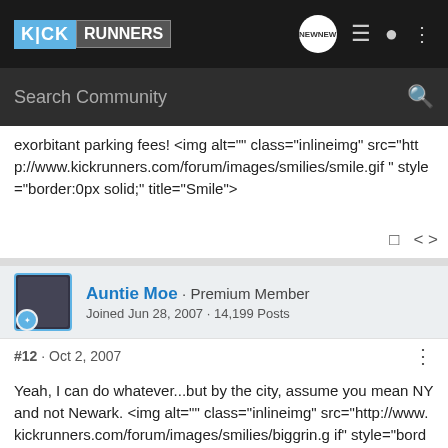KICK RUNNERS [navigation header with search bar]
exorbitant parking fees! <img alt="" class="inlineimg" src="http://www.kickrunners.com/forum/images/smilies/smile.gif" style="border:0px solid;" title="Smile">
Auntie Moe · Premium Member
Joined Jun 28, 2007 · 14,199 Posts
#12 · Oct 2, 2007
Yeah, I can do whatever...but by the city, assume you mean NY and not Newark. <img alt="" class="inlineimg" src="http://www.kickrunners.com/forum/images/smilies/biggrin.gif" style="border:0px solid;" title="Very Happy"><br><br>
Hey to visit that pond area...